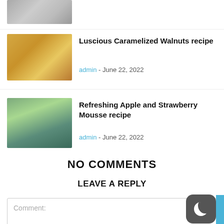[Figure (photo): Partial view of stacked brown cookies/biscuits on a white plate, cropped at top]
[Figure (photo): Close-up of caramelized walnuts, golden-brown color]
Luscious Caramelized Walnuts recipe
admin - June 22, 2022
[Figure (photo): Hand holding a small glass jar with dark liquid and green herb garnish]
Refreshing Apple and Strawberry Mousse recipe
admin - June 22, 2022
NO COMMENTS
LEAVE A REPLY
Comment: